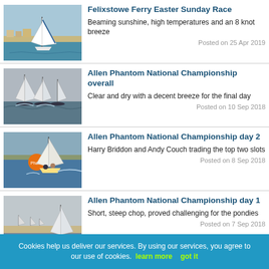[Figure (photo): Sailboat racing on water near shore]
Felixstowe Ferry Easter Sunday Race
Beaming sunshine, high temperatures and an 8 knot breeze
Posted on 25 Apr 2019
[Figure (photo): Multiple sailboats racing on choppy water]
Allen Phantom National Championship overall
Clear and dry with a decent breeze for the final day
Posted on 10 Sep 2018
[Figure (photo): Sailboat with orange buoy, two sailors on water]
Allen Phantom National Championship day 2
Harry Briddon and Andy Couch trading the top two slots
Posted on 8 Sep 2018
[Figure (photo): Calm water with sailboats near sandy shore]
Allen Phantom National Championship day 1
Short, steep chop, proved challenging for the pondies
Posted on 7 Sep 2018
Cookies help us deliver our services. By using our services, you agree to our use of cookies. learn more   got it